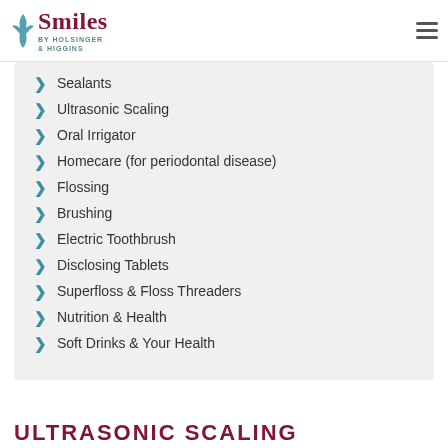Smiles by Holsinger & Higgins
Sealants
Ultrasonic Scaling
Oral Irrigator
Homecare (for periodontal disease)
Flossing
Brushing
Electric Toothbrush
Disclosing Tablets
Superfloss & Floss Threaders
Nutrition & Health
Soft Drinks & Your Health
ULTRASONIC SCALING